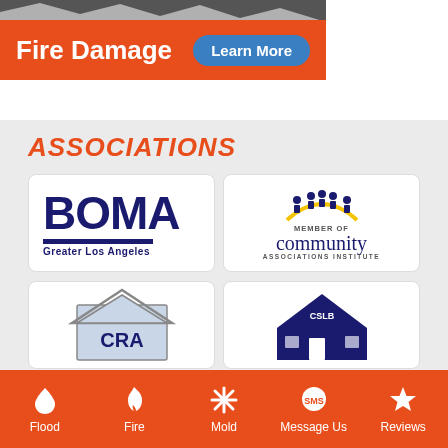[Figure (screenshot): Fire Damage banner with orange background, fire image at top, 'Fire Damage' text in white bold, and 'Learn More' button in blue rounded rectangle]
ASSOCIATIONS
[Figure (logo): BOMA Greater Los Angeles logo - dark navy blue bold letters with horizontal bar underneath]
[Figure (logo): Member of Community Associations Institute logo with figures icon above an arch]
[Figure (logo): CRA logo with house/roof graphic in light blue]
[Figure (logo): CSLB logo with house graphic in dark navy blue]
[Figure (screenshot): Bottom navigation bar with orange background showing Flood, Fire, Mold, Message Us, Reviews icons and labels in white]